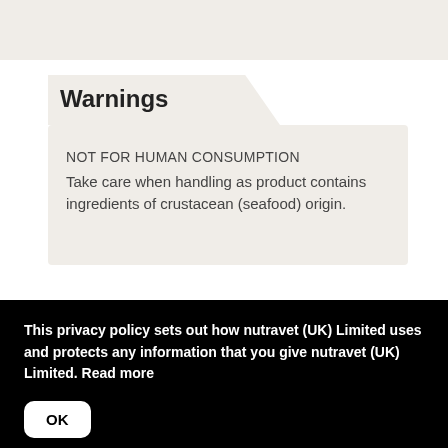Warnings
NOT FOR HUMAN CONSUMPTION
Take care when handling as product contains ingredients of crustacean (seafood) origin.
This privacy policy sets out how nutravet (UK) Limited uses and protects any information that you give nutravet (UK) Limited. Read more
OK